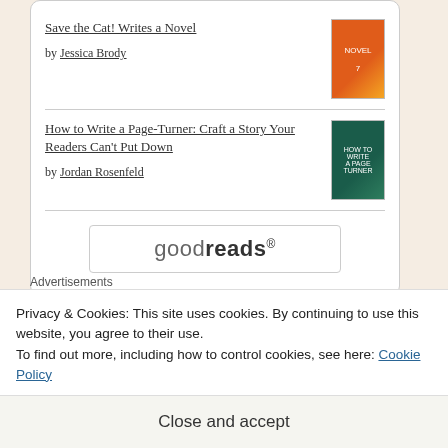Save the Cat! Writes a Novel by Jessica Brody
How to Write a Page-Turner: Craft a Story Your Readers Can't Put Down by Jordan Rosenfeld
[Figure (logo): Goodreads logo button in rounded rectangle]
Advertisements
[Figure (other): Purple advertisement bar]
Privacy & Cookies: This site uses cookies. By continuing to use this website, you agree to their use.
To find out more, including how to control cookies, see here: Cookie Policy
Close and accept